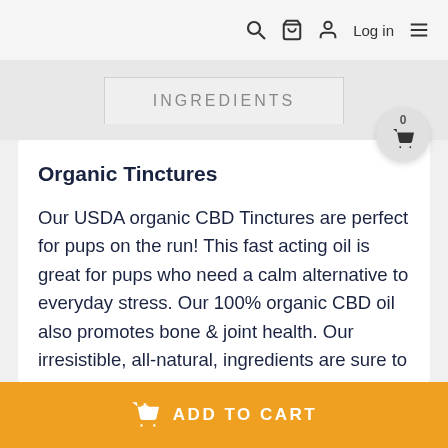Log in
INGREDIENTS
Organic Tinctures
Our USDA organic CBD Tinctures are perfect for pups on the run! This fast acting oil is great for pups who need a calm alternative to everyday stress. Our 100% organic CBD oil also promotes bone & joint health. Our irresistible, all-natural, ingredients are sure to keep your pup calm and happy.
ADD TO CART